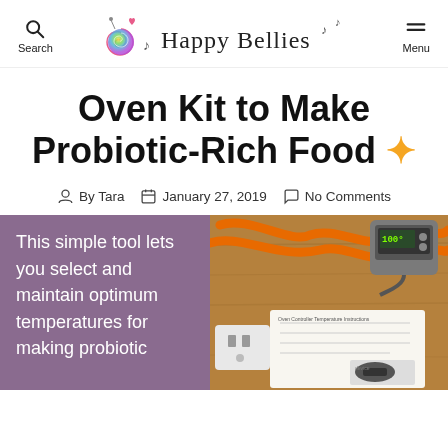Search | Happy Bellies logo | Menu
Oven Kit to Make Probiotic-Rich Food ✨
By Tara  January 27, 2019  No Comments
This simple tool lets you select and maintain optimum temperatures for making probiotic
[Figure (photo): Photo of an oven kit with orange extension cord, grey thermostat device, and instruction sheet on a wooden surface]